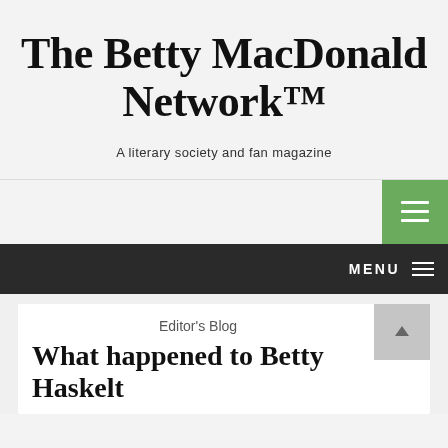The Betty MacDonald Network™
A literary society and fan magazine
[Figure (screenshot): Green hamburger menu button in top-right navigation area]
[Figure (screenshot): Dark navigation bar with MENU text and hamburger icon on the right]
Editor's Blog
What happened to Betty Haskell